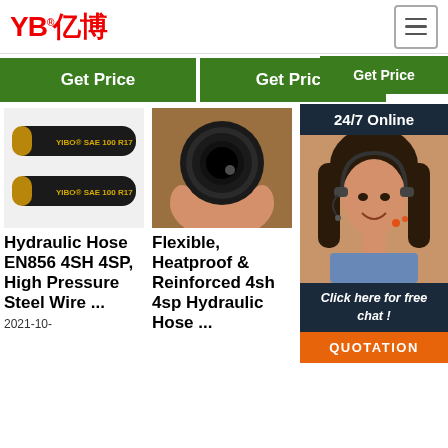[Figure (logo): YB亿博 company logo in red]
Get Price
Get Price
Get Price
24/7 Online
[Figure (photo): Woman with headset smiling, customer support agent]
Click here for free chat !
QUOTATION
[Figure (photo): Two black hydraulic hoses labeled YIBO SAE 100 R17]
Hydraulic Hose EN856 4SH 4SP, High Pressure Steel Wire ...
2021-10-
[Figure (photo): Close-up of hydraulic hose end held in hand]
Flexible, Heatproof & Reinforced 4sh 4sp Hydraulic Hose ...
[Figure (photo): Hydraulic hose product image]
EN856 4SH- Hydraulic Rubber Hose- Hydraulic Hose 4sh
Hydraulic Rubber